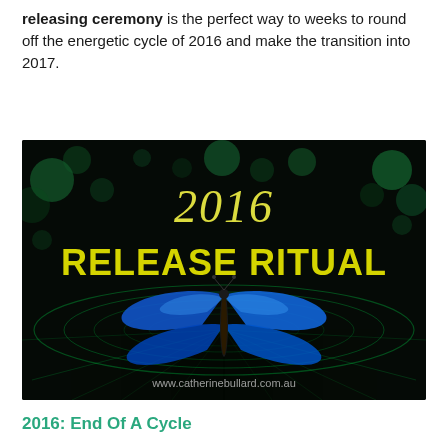releasing ceremony is the perfect way to weeks to round off the energetic cycle of 2016 and make the transition into 2017.
[Figure (illustration): Promotional image for '2016 Release Ritual' showing a blue butterfly on a dark background with green ripples and bokeh lights. Text reads '2016' in italic yellow script at the top and 'RELEASE RITUAL' in large bold yellow letters below. Website URL 'www.catherinebullard.com.au' appears at the bottom.]
2016: End Of A Cycle